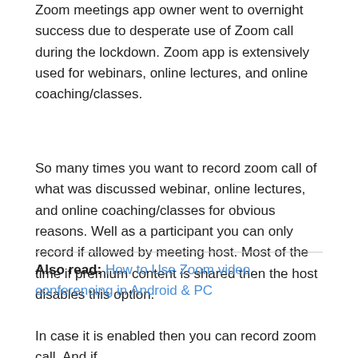Zoom meetings app owner went to overnight success due to desperate use of Zoom call during the lockdown. Zoom app is extensively used for webinars, online lectures, and online coaching/classes.
So many times you want to record zoom call of what was discussed webinar, online lectures, and online coaching/classes for obvious reasons. Well as a participant you can only record if allowed by meeting host. Most of the time if premium content is shared then the host disables this option.
Also read: How to Use Zoom video conferencing in Android & PC
In case it is enabled then you can record zoom call. And if